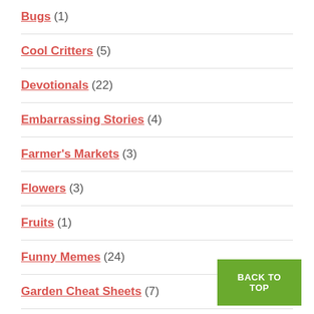Bugs (1)
Cool Critters (5)
Devotionals (22)
Embarrassing Stories (4)
Farmer's Markets (3)
Flowers (3)
Fruits (1)
Funny Memes (24)
Garden Cheat Sheets (7)
Garden Diops (21)